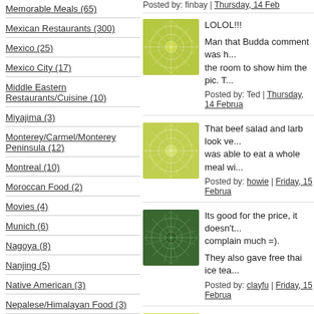Memorable Meals (65)
Mexican Restaurants (300)
Mexico (25)
Mexico City (17)
Middle Eastern Restaurants/Cuisine (10)
Miyajima (3)
Monterey/Carmel/Monterey Peninsula (12)
Montreal (10)
Moroccan Food (2)
Movies (4)
Munich (6)
Nagoya (8)
Nanjing (5)
Native American (3)
Nepalese/Himalayan Food (3)
Netherlands (5)
Niu Rou Mian (21)
Posted by: finbay | Thursday, 14 Feb...
LOLOL!!!
Man that Budda comment was h... the room to show him the pic. T...
Posted by: Ted | Thursday, 14 Februa...
That beef salad and larb look ve... was able to eat a whole meal wi...
Posted by: howie | Friday, 15 Februa...
Its good for the price, it doesn't... complain much =).
They also gave free thai ice tea...
Posted by: clayfu | Friday, 15 Februa...
It redeemed itself after the pad s... the pad see ew is bad, everythin...